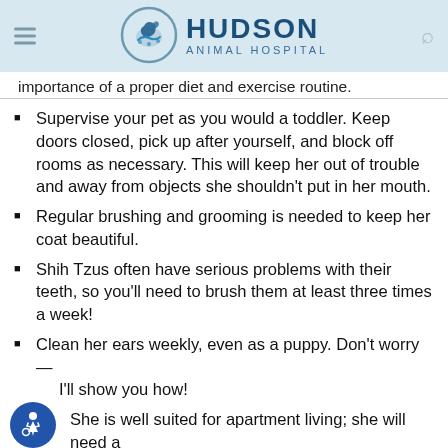Hudson Animal Hospital
importance of a proper diet and exercise routine.
Supervise your pet as you would a toddler. Keep doors closed, pick up after yourself, and block off rooms as necessary. This will keep her out of trouble and away from objects she shouldn't put in her mouth.
Regular brushing and grooming is needed to keep her coat beautiful.
Shih Tzus often have serious problems with their teeth, so you'll need to brush them at least three times a week!
Clean her ears weekly, even as a puppy. Don't worry—I'll show you how!
She is well suited for apartment living; she will need a